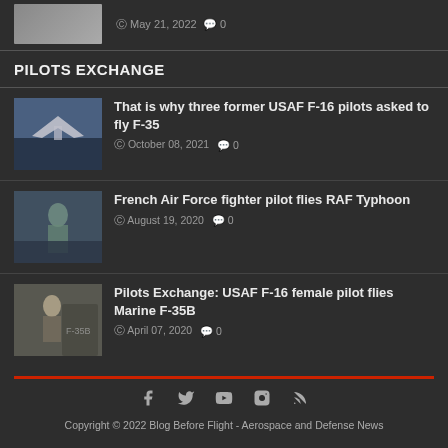[Figure (photo): Partial thumbnail of aircraft at top of page]
May 21, 2022  0
PILOTS EXCHANGE
[Figure (photo): F-35 landing on aircraft carrier deck]
That is why three former USAF F-16 pilots asked to fly F-35
October 08, 2021  0
[Figure (photo): Female French Air Force fighter pilot standing in front of aircraft]
French Air Force fighter pilot flies RAF Typhoon
August 19, 2020  0
[Figure (photo): Female USAF pilot standing in front of F-35B]
Pilots Exchange: USAF F-16 female pilot flies Marine F-35B
April 07, 2020  0
Copyright © 2022 Blog Before Flight - Aerospace and Defense News